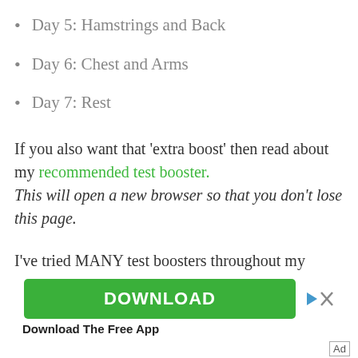Day 5: Hamstrings and Back
Day 6: Chest and Arms
Day 7: Rest
If you also want that 'extra boost' then read about my recommended test booster. This will open a new browser so that you don't lose this page.
I've tried MANY test boosters throughout my decades of lifting. Most of them are junk.
[Figure (screenshot): Green DOWNLOAD button advertisement for a free app, with play/close icons and 'Download The Free App' caption below]
Ad